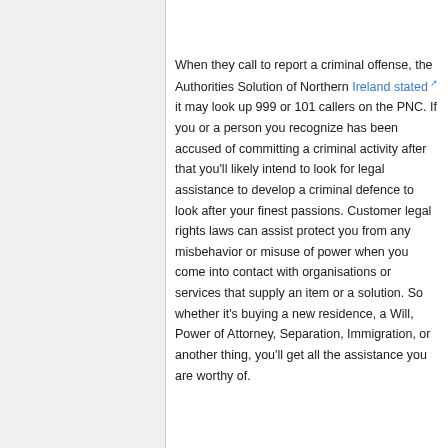When they call to report a criminal offense, the Authorities Solution of Northern Ireland stated it may look up 999 or 101 callers on the PNC. If you or a person you recognize has been accused of committing a criminal activity after that you'll likely intend to look for legal assistance to develop a criminal defence to look after your finest passions. Customer legal rights laws can assist protect you from any misbehavior or misuse of power when you come into contact with organisations or services that supply an item or a solution. So whether it's buying a new residence, a Will, Power of Attorney, Separation, Immigration, or another thing, you'll get all the assistance you are worthy of.